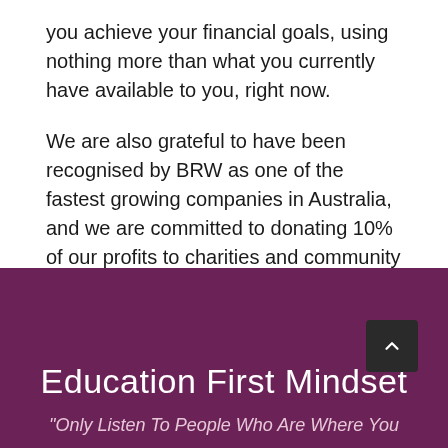you achieve your financial goals, using nothing more than what you currently have available to you, right now.
We are also grateful to have been recognised by BRW as one of the fastest growing companies in Australia, and we are committed to donating 10% of our profits to charities and community projects.
Education First Mindset
"Only Listen To People Who Are Where You